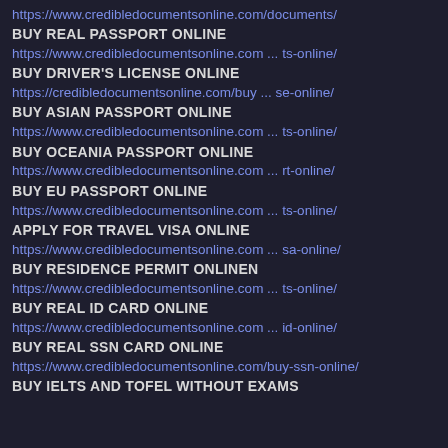https://www.credibledocumentsonline.com/documents/
BUY REAL PASSPORT ONLINE
https://www.credibledocumentsonline.com ... ts-online/
BUY DRIVER'S LICENSE ONLINE
https://credibledocumentsonline.com/buy ... se-online/
BUY ASIAN PASSPORT ONLINE
https://www.credibledocumentsonline.com ... ts-online/
BUY OCEANIA PASSPORT ONLINE
https://www.credibledocumentsonline.com ... rt-online/
BUY EU PASSPORT ONLINE
https://www.credibledocumentsonline.com ... ts-online/
APPLY FOR TRAVEL VISA ONLINE
https://www.credibledocumentsonline.com ... sa-online/
BUY RESIDENCE PERMIT ONLINEN
https://www.credibledocumentsonline.com ... ts-online/
BUY REAL ID CARD ONLINE
https://www.credibledocumentsonline.com ... id-online/
BUY REAL SSN CARD ONLINE
https://www.credibledocumentsonline.com/buy-ssn-online/
BUY IELTS AND TOFEL WITHOUT EXAMS